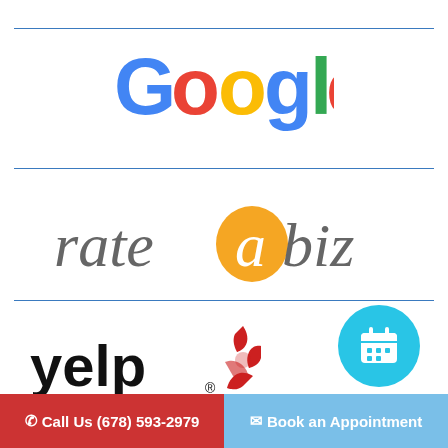[Figure (logo): Google logo in multicolor (blue G, red o, yellow o, blue g, green l, red e)]
[Figure (logo): rateabiz logo: gray text 'rate' and 'biz' with orange circular 'a' letter mark]
[Figure (logo): Yelp logo in black bold text with red burst/star icon]
[Figure (infographic): Cyan/light-blue circular calendar booking icon button]
Call Us (678) 593-2979  |  Book an Appointment